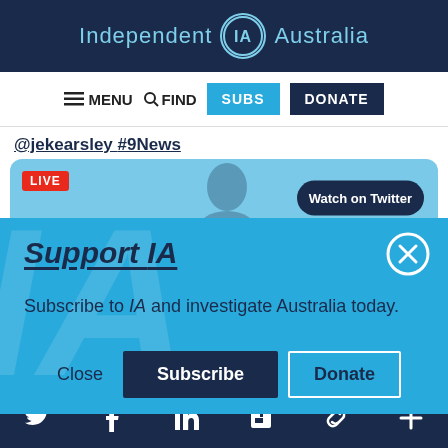Independent IA Australia
≡ MENU  🔍 FIND  SUBS  DONATE
@jekearsley #9News
[Figure (screenshot): Twitter/X live video embed showing a news anchor with LIVE badge and Watch on Twitter button]
Support IA
Subscribe to IA and investigate Australia today.
Close  Subscribe  Donate
Twitter  Facebook  LinkedIn  Flipboard  Link  Plus